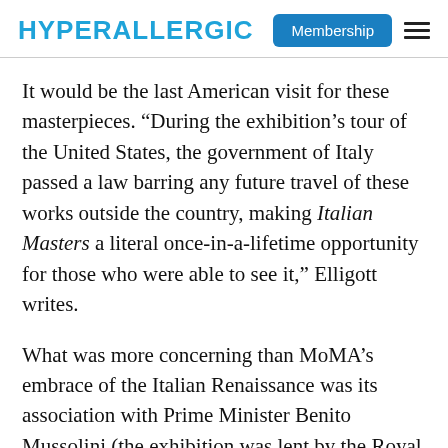HYPERALLERGIC | Membership
It would be the last American visit for these masterpieces. “During the exhibition’s tour of the United States, the government of Italy passed a law barring any future travel of these works outside the country, making Italian Masters a literal once-in-a-lifetime opportunity for those who were able to see it,” Elligott writes.
What was more concerning than MoMA’s embrace of the Italian Renaissance was its association with Prime Minister Benito Mussolini (the exhibition was lent by the Royal Italian Government), and the museum leaders